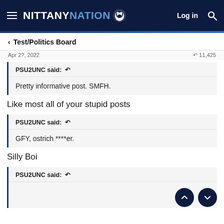NITTANY NATION — Log in
< Test/Politics Board
Apr 2?, 2022  ↵ 11,425
PSU2UNC said: ↩
Pretty informative post. SMFH.
Like most all of your stupid posts
PSU2UNC said: ↩
GFY, ostrich ****er.
Silly Boi
PSU2UNC said: ↩